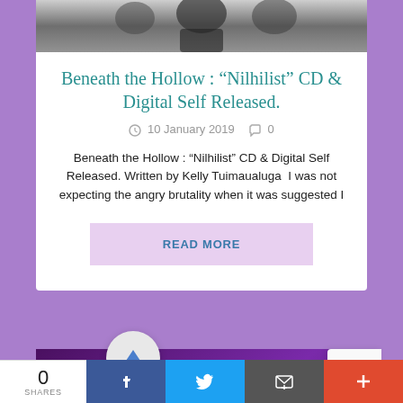[Figure (photo): Black and white photo of people, partially visible at top of card]
Beneath the Hollow : “Nilhilist” CD & Digital Self Released.
10 January 2019   0
Beneath the Hollow : “Nilhilist” CD & Digital Self Released. Written by Kelly Tuimaualuga  I was not expecting the angry brutality when it was suggested I
READ MORE
[Figure (photo): Dark purple/black photo strip at bottom, partially visible]
0 SHARES